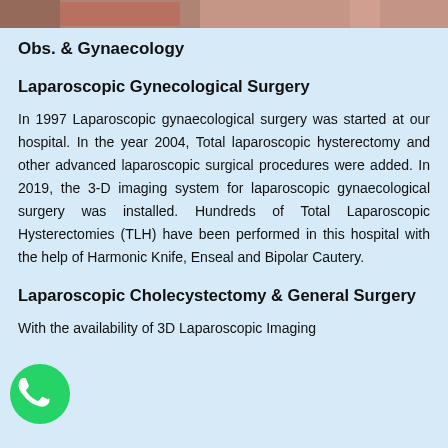[Figure (photo): Partial view of a surgical or hospital scene at the top of the page]
Obs. & Gynaecology
Laparoscopic Gynecological Surgery
In 1997 Laparoscopic gynaecological surgery was started at our hospital. In the year 2004, Total laparoscopic hysterectomy and other advanced laparoscopic surgical procedures were added. In 2019, the 3-D imaging system for laparoscopic gynaecological surgery was installed. Hundreds of Total Laparoscopic Hysterectomies (TLH) have been performed in this hospital with the help of Harmonic Knife, Enseal and Bipolar Cautery.
Laparoscopic Cholecystectomy & General Surgery
With the availability of 3D Laparoscopic Imaging
[Figure (logo): WhatsApp green circular button icon at bottom left]